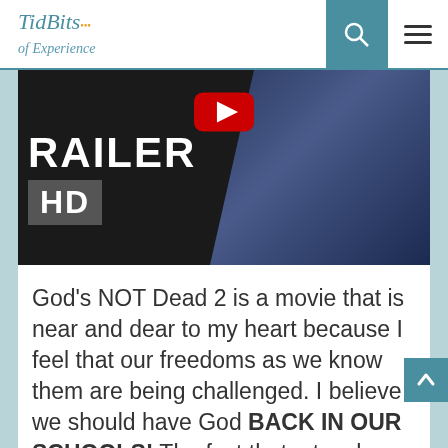TidBits of Experience
[Figure (screenshot): YouTube video thumbnail showing a movie trailer for 'God's NOT Dead 2'. Text reads 'RAILER' and 'HD' in bold white text on dark background. A play button is visible at top center. A woman in a dark blue outfit is visible on the right side.]
God's NOT Dead 2 is a movie that is near and dear to my heart because I feel that our freedoms as we know them are being challenged. I believe we should have God BACK IN OUR SCHOOLS! The fact that a teacher